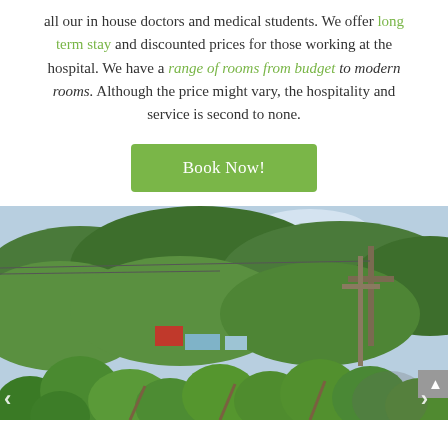all our in house doctors and medical students. We offer long term stay and discounted prices for those working at the hospital. We have a range of rooms from budget to modern rooms. Although the price might vary, the hospitality and service is second to none.
[Figure (other): Button labeled 'Book Now!' with green background]
[Figure (photo): Outdoor photograph showing a lush tropical landscape with green hills, palm trees, buildings, power lines, and a cross structure against a partly cloudy sky.]